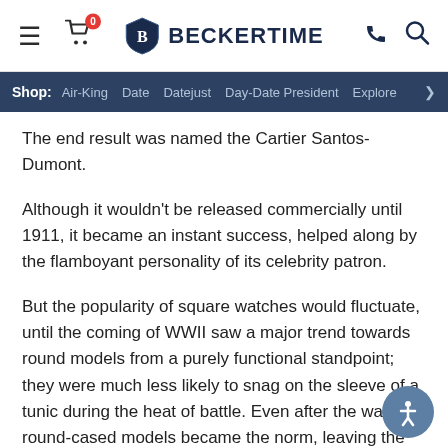BECKERTIME | Shop: Air-King Date Datejust Day-Date President Explore
The end result was named the Cartier Santos-Dumont.
Although it wouldn't be released commercially until 1911, it became an instant success, helped along by the flamboyant personality of its celebrity patron.
But the popularity of square watches would fluctuate, until the coming of WWII saw a major trend towards round models from a purely functional standpoint; they were much less likely to snag on the sleeve of a tunic during the heat of battle. Even after the war, round-cased models became the norm, leaving the Santos and its right-angles a distinct but well received oddity.
It continued in its original form right up until the 1970s when the incredible success of Gerald Genta's luxury sports watches, the Royal Oak and Patek Nautilus, with their gently rounded square